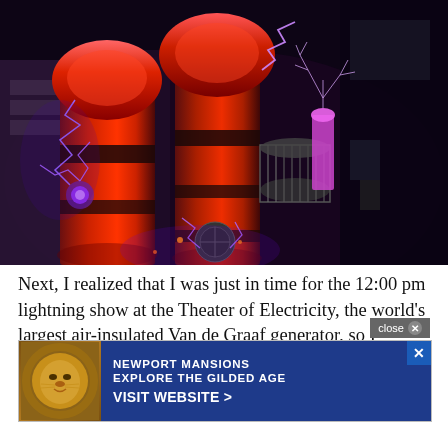[Figure (photo): Indoor photo of large Tesla coils or Van de Graaff generators - tall red cylindrical towers with electric lightning bolts/arcs visible in a dark theater setting. Purple and blue electrical discharges visible around the equipment.]
Next, I realized that I was just in time for the 12:00 pm lightning show at the Theater of Electricity, the world's largest air-insulated Van de Graaf generator, so I booked it over to the theater and snagged a seat. The show features an entertaining live demonstration of lightning...
[Figure (screenshot): Advertisement overlay: Newport Mansions - Explore the Gilded Age - Visit Website > with a close button and X button. Features an ornate golden lion face image on the left side.]